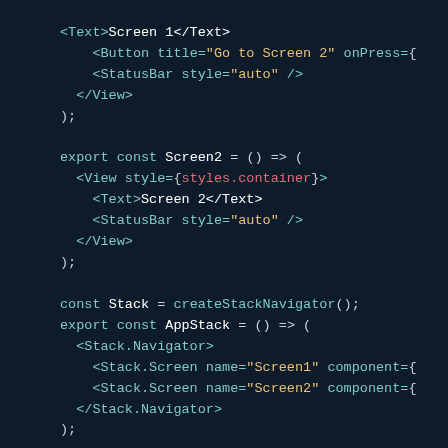Code snippet showing React Native screen components and stack navigator setup